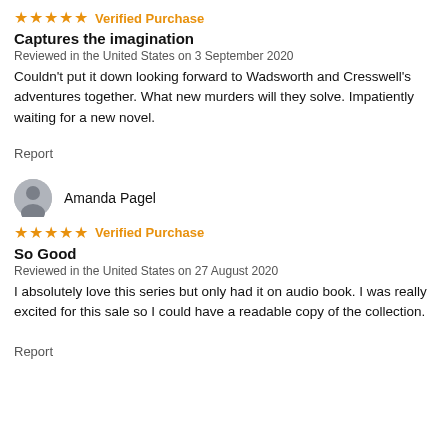★★★★★ Verified Purchase
Captures the imagination
Reviewed in the United States on 3 September 2020
Couldn't put it down looking forward to Wadsworth and Cresswell's adventures together. What new murders will they solve. Impatiently waiting for a new novel.
Report
Amanda Pagel
★★★★★ Verified Purchase
So Good
Reviewed in the United States on 27 August 2020
I absolutely love this series but only had it on audio book. I was really excited for this sale so I could have a readable copy of the collection.
Report